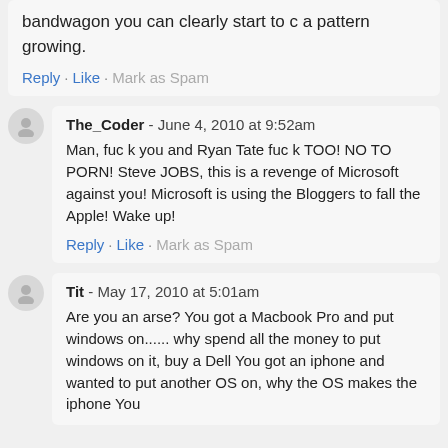bandwagon you can clearly start to c a pattern growing.
Reply · Like · Mark as Spam
The_Coder - June 4, 2010 at 9:52am
Man, fuc k you and Ryan Tate fuc k TOO! NO TO PORN! Steve JOBS, this is a revenge of Microsoft against you! Microsoft is using the Bloggers to fall the Apple! Wake up!
Reply · Like · Mark as Spam
Tit - May 17, 2010 at 5:01am
Are you an arse? You got a Macbook Pro and put windows on...... why spend all the money to put windows on it, buy a Dell You got an iphone and wanted to put another OS on, why the OS makes the iphone You